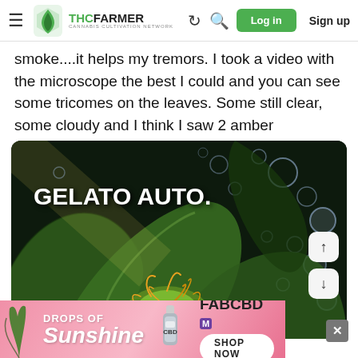THCFarmer - Cannabis Cultivation Network - Log in - Sign up
smoke....it helps my tremors. I took a video with the microscope the best I could and you can see some tricomes on the leaves. Some still clear, some cloudy and I think I saw 2 amber
[Figure (photo): Close-up macro photo of a cannabis plant (Gelato Auto strain) showing buds and trichomes on leaves, with a 'GELATO AUTO.' text overlay and navigation arrows on the right side.]
[Figure (advertisement): FAB CBD advertisement banner with pink background, 'DROPS OF Sunshine' text on the left, a bottle illustration, and 'FABCBD SHOP NOW' button on the right.]